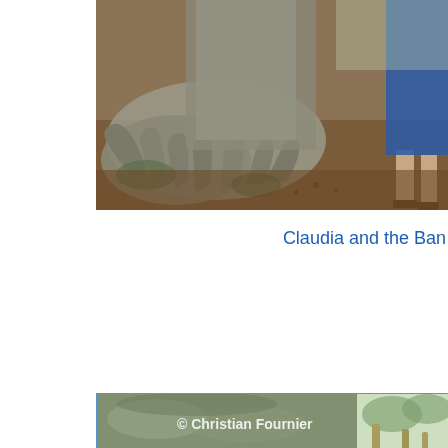[Figure (photo): Top portion of a photo showing large banyan tree roots spreading along the ground, with a person standing nearby wearing sandals and blue clothing. Brown earthen ground visible.]
Claudia and the Ban
[Figure (photo): Large close-up photo of a banyan tree trunk showing its smooth grey bark texture with mottled patterns. A watermark reads '© Christian Fournier'. On the right side, tree branches with green foliage and wooden poles/stilts are visible.]